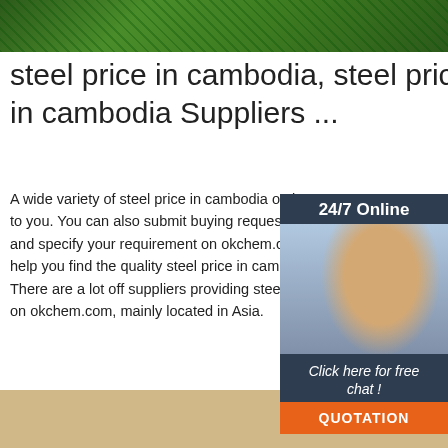[Figure (photo): Green bamboo or tropical plant background image at top of page]
steel price in cambodia, steel price in cambodia Suppliers ...
A wide variety of steel price in cambodia options to you. You can also submit buying request for th and specify your requirement on okchem.com, a help you find the quality steel price in cambodia : There are a lot off suppliers providing steel price on okchem.com, mainly located in Asia.
[Figure (infographic): 24/7 Online chat widget with photo of woman with headset, dark blue background, 'Click here for free chat!' text and orange QUOTATION button]
[Figure (other): Green Get Price button]
[Figure (photo): Dried root/spice pieces photo with orange TOP logo overlay in bottom right corner]